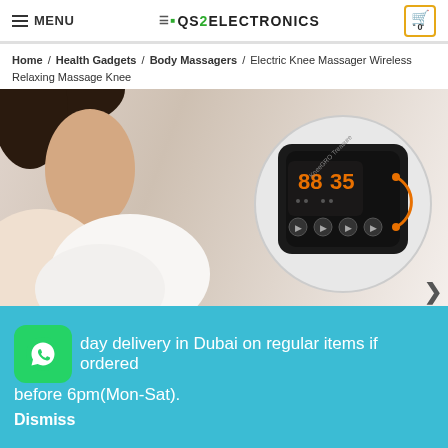MENU | QS2ELECTRONICS | 0
Home / Health Gadgets / Body Massagers / Electric Knee Massager Wireless Relaxing Massage Knee
[Figure (photo): Product page for Electric Knee Massager Wireless Relaxing Massage Knee. Shows a person holding a knee on the left side and a close-up of the massager device control panel (KneeGRO Treasure) on the right inside a circular inset. A right arrow navigation button is visible at the bottom right.]
day delivery in Dubai on regular items if ordered before 6pm(Mon-Sat). Dismiss